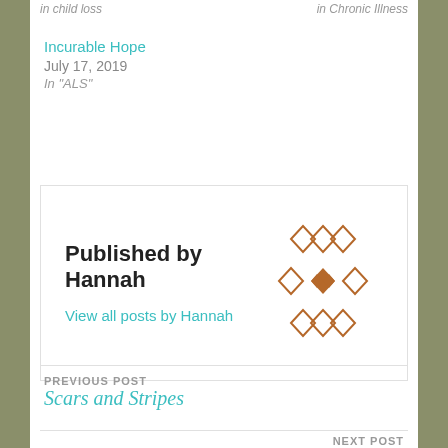In  child loss
In  Chronic Illness
Incurable Hope
July 17, 2019
In "ALS"
Published by Hannah
View all posts by Hannah
[Figure (illustration): Brown geometric diamond/star ornamental pattern used as author avatar]
PREVIOUS POST
Scars and Stripes
NEXT POST